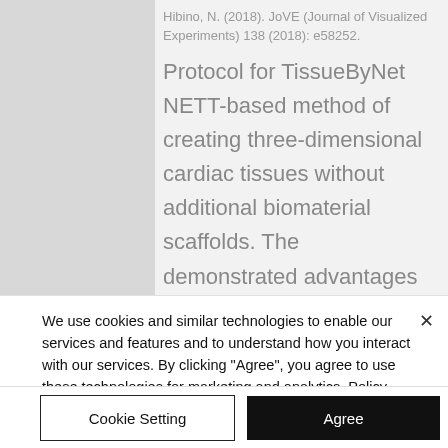Hibino, N. (2018). JoVE (Journal of Visualized Experiments) 138 (2018): e58252.
Protocol for TissueByNet NETT-based method of creating three-dimensional cardiac tissues without additional biomaterial scaffolds. The demonstrated advantages of this method may lend to the ability to create larger,
We use cookies and similar technologies to enable our services and features and to understand how you interact with our services. By clicking "Agree", you agree to use these technologies for marketing and analytics. Policy
Cookie Setting
Agree